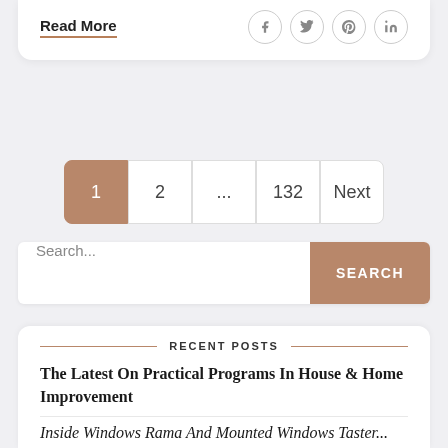improvement and decor tasks. ...
Read More
Pagination: 1, 2, ..., 132, Next
Search...
RECENT POSTS
The Latest On Practical Programs In House & Home Improvement
Inside WindowsRama And Mounted Windows Taster...